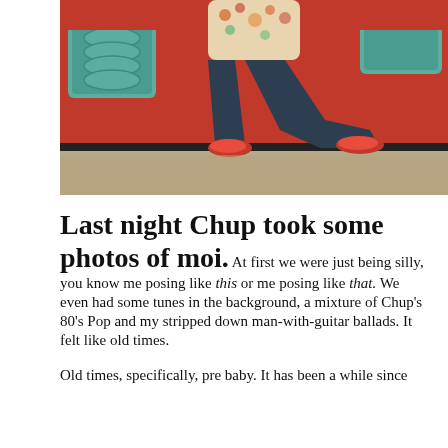[Figure (photo): A person sitting on a red sofa with teal/green decorative pillows on each side. The person is wearing dark jeans and red/pink flat shoes, with a floral top. Only the lower body and legs are visible. The background shows a neutral carpet.]
Last night Chup took some photos of moi. At first we were just being silly, you know me posing like this or me posing like that. We even had some tunes in the background, a mixture of Chup's 80's Pop and my stripped down man-with-guitar ballads. It felt like old times.
Old times, specifically, pre baby. It has been a while since